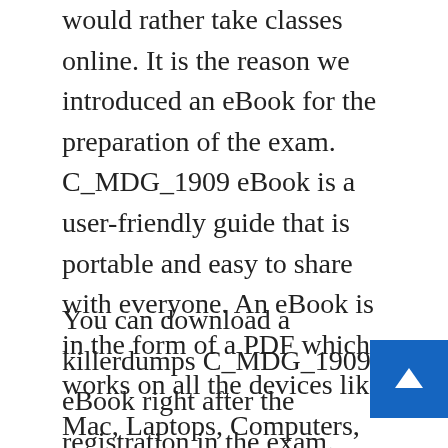would rather take classes online. It is the reason we introduced an eBook for the preparation of the exam. C_MDG_1909 eBook is a user-friendly guide that is portable and easy to share with everyone. An eBook is in the form of a PDF which works on all the devices like Mac, Laptops, Computers, Tablets, Smartphones, etc. You can study anywhere and anytime on your mobile.
You can download a killerdumps C_MDG_1909 eBook right after the registration in the exam. There's no need to be concerned about falling behind because a textbook isn't available or hasn't arrived yet. Another advantage of eBooks is you can store it on your computer or smartphone in one spot so that losing or forgetting the book